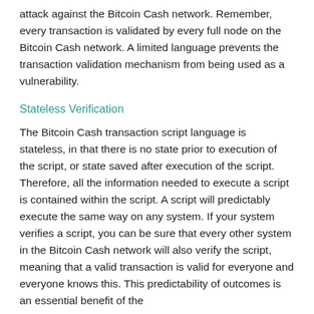attack against the Bitcoin Cash network. Remember, every transaction is validated by every full node on the Bitcoin Cash network. A limited language prevents the transaction validation mechanism from being used as a vulnerability.
Stateless Verification
The Bitcoin Cash transaction script language is stateless, in that there is no state prior to execution of the script, or state saved after execution of the script. Therefore, all the information needed to execute a script is contained within the script. A script will predictably execute the same way on any system. If your system verifies a script, you can be sure that every other system in the Bitcoin Cash network will also verify the script, meaning that a valid transaction is valid for everyone and everyone knows this. This predictability of outcomes is an essential benefit of the